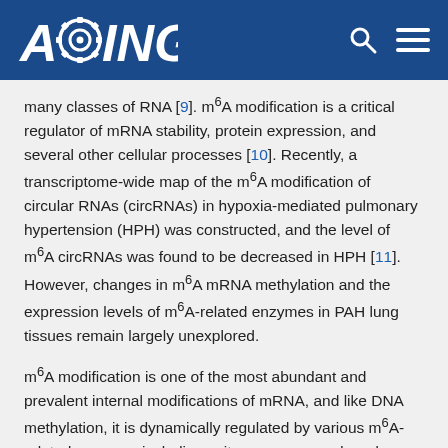AGING
many classes of RNA [9]. m6A modification is a critical regulator of mRNA stability, protein expression, and several other cellular processes [10]. Recently, a transcriptome-wide map of the m6A modification of circular RNAs (circRNAs) in hypoxia-mediated pulmonary hypertension (HPH) was constructed, and the level of m6A circRNAs was found to be decreased in HPH [11]. However, changes in m6A mRNA methylation and the expression levels of m6A-related enzymes in PAH lung tissues remain largely unexplored.
m6A modification is one of the most abundant and prevalent internal modifications of mRNA, and like DNA methylation, it is dynamically regulated by various m6A-related enzymes including writers, erasers and readers [12]. The installation of m6A is catalyzed by “writers”,